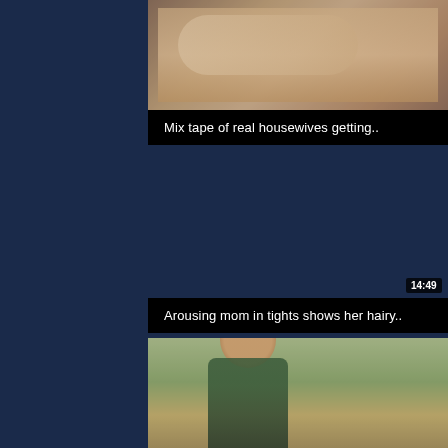[Figure (photo): Video thumbnail showing people on a bed, duration badge '12:06' in lower right corner]
Mix tape of real housewives getting..
Arousing mom in tights shows her hairy..
[Figure (photo): Video thumbnail showing a woman with curly hair in a park wearing a green top, mouth open]